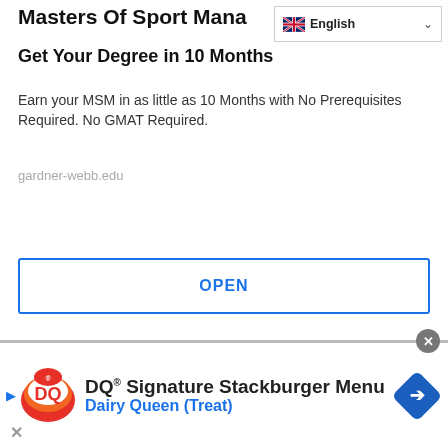Masters Of Sport Mana…
Get Your Degree in 10 Months
Earn your MSM in as little as 10 Months with No Prerequisites Required. No GMAT Required.
gardner-webb.edu
[Figure (screenshot): OPEN button with blue border]
[Figure (logo): Education Planet Online logo — blue circle with graduation cap and pen, text EDUCATION PLANET ONLINE / Rediscovering Opportunities]
[Figure (infographic): Dairy Queen advertisement banner: DQ Signature Stackburger Menu, Dairy Queen (Treat), DQ logo, blue diamond navigation icon]